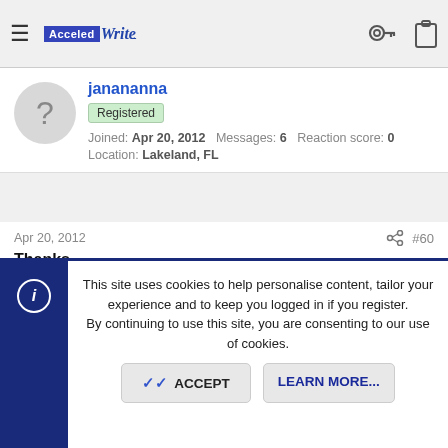AcceledWrite — navigation bar with hamburger menu, logo, key icon, clipboard icon
janananna
Registered
Joined: Apr 20, 2012  Messages: 6  Reaction score: 0
Location: Lakeland, FL
Apr 20, 2012  #60
Thanks
Your post is great!!!! Thank you so much... You have freely given a lot of really great ideas here. I have so much to learn about publishing and marketing my upcoming book... so I am extra appreciative that you have shared so much here.
This site uses cookies to help personalise content, tailor your experience and to keep you logged in if you register.
By continuing to use this site, you are consenting to our use of cookies.